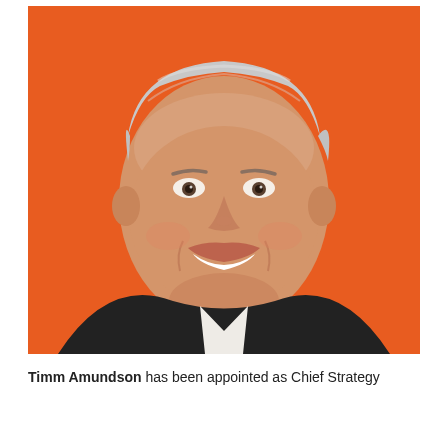[Figure (photo): Headshot portrait of Timm Amundson, a middle-aged man with grey-white hair, smiling broadly, wearing a dark jacket and white shirt, against an orange background.]
Timm Amundson has been appointed as Chief Strategy